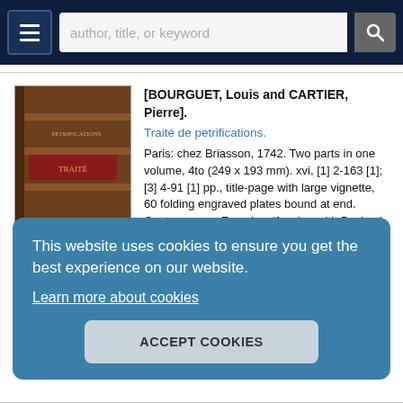author, title, or keyword
[Figure (photo): Antique leather-bound book with spine facing viewer, brown calf binding with 5 raised bands]
[BOURGUET, Louis and CARTIER, Pierre]. Traité de petrifications. Paris: chez Briasson, 1742. Two parts in one volume, 4to (249 x 193 mm). xvi, [1] 2-163 [1]; [3] 4-91 [1] pp., title-page with large vignette, 60 folding engraved plates bound at end. Contemporary French calf, spine with 5 raised bands gilt in compartment and with red morocco label titled..... More ›
This website uses cookies to ensure you get the best experience on our website.
Learn more about cookies
ACCEPT COOKIES